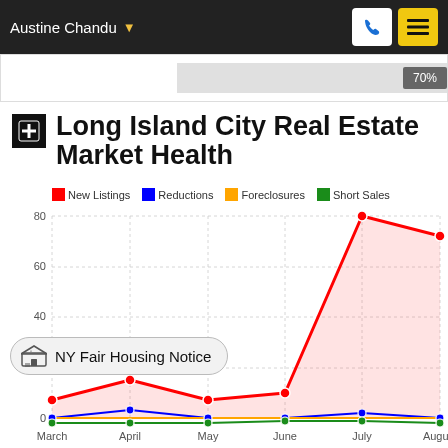Austine Chandu
Long Island City Real Estate Market Health
[Figure (line-chart): Long Island City Real Estate Market Health]
NY Fair Housing Notice